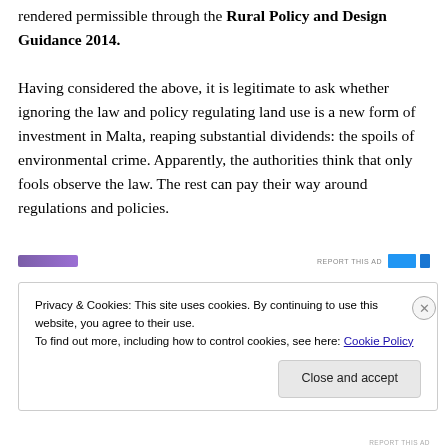rendered permissible through the Rural Policy and Design Guidance 2014.

Having considered the above, it is legitimate to ask whether ignoring the law and policy regulating land use is a new form of investment in Malta, reaping substantial dividends: the spoils of environmental crime. Apparently, the authorities think that only fools observe the law. The rest can pay their way around regulations and policies.
[Figure (other): Advertisement bar with purple gradient strip on left and blue report-this-ad button on right]
Privacy & Cookies: This site uses cookies. By continuing to use this website, you agree to their use.
To find out more, including how to control cookies, see here: Cookie Policy
Close and accept